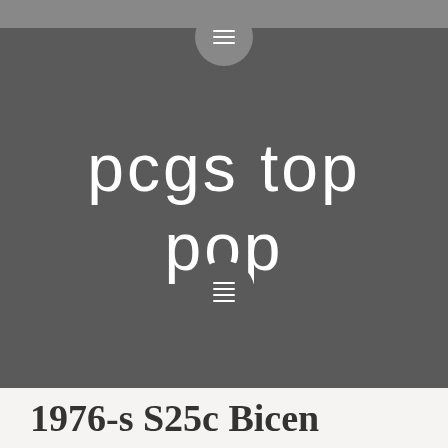[Figure (screenshot): Website header screenshot showing PCGS Top Pop logo on dark gray background with hamburger menu icons at top and bottom, and partial page title '1976-s S25c Bicen' visible at the bottom]
pcgs top pop
1976-s S25c Bicen